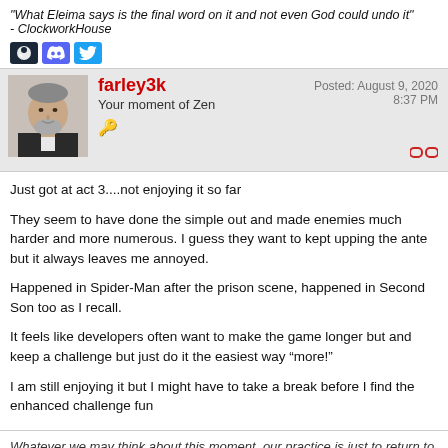"What Eleima says is the final word on it and not even God could undo it" - ClockworkHouse
[Figure (logo): Steam, Discord, Twitter social media icons]
farley3k
Your moment of Zen
🔑
Posted: August 9, 2020
8:37 PM
Just got at act 3....not enjoying it so far
They seem to have done the simple out and made enemies much harder and more numerous. I guess they want to kept upping the ante but it always leaves me annoyed.
Happened in Spider-Man after the prison scene, happened in Second Son too as I recall.
It feels like developers often want to make the game longer but and keep a challenge but just do it the easiest way “more!”
I am still enjoying it but I might have to take a break before I find the enhanced challenge fun
Whatever we may think about this moment, our practice is just to return to it. This moment is where all beings exist.